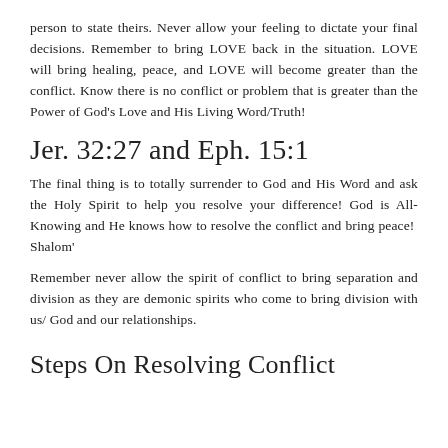person to state theirs. Never allow your feeling to dictate your final decisions. Remember to bring LOVE back in the situation. LOVE will bring healing, peace, and LOVE will become greater than the conflict. Know there is no conflict or problem that is greater than the Power of God's Love and His Living Word/Truth!
Jer. 32:27 and Eph. 15:1
The final thing is to totally surrender to God and His Word and ask the Holy Spirit to help you resolve your difference! God is All-Knowing and He knows how to resolve the conflict and bring peace!  Shalom'
Remember never allow the spirit of conflict to bring separation and division as they are demonic spirits who come to bring division with us/ God and our relationships.
Steps On Resolving Conflict